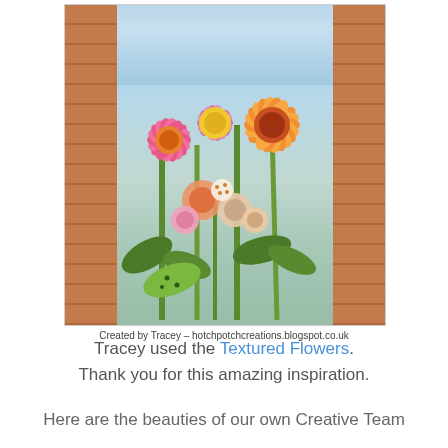[Figure (photo): A colorful mixed-media flower art piece mounted on a canvas, displayed against a brick wall backdrop. The artwork features vibrant pink, orange, and yellow layered paper flowers with patterned petals, green stems and leaves, on a textured blue background.]
Created by Tracey - hotchpotchcreations.blogspot.co.uk
Tracey used the Textured Flowers. Thank you for this amazing inspiration.
Here are the beauties of our own Creative Team